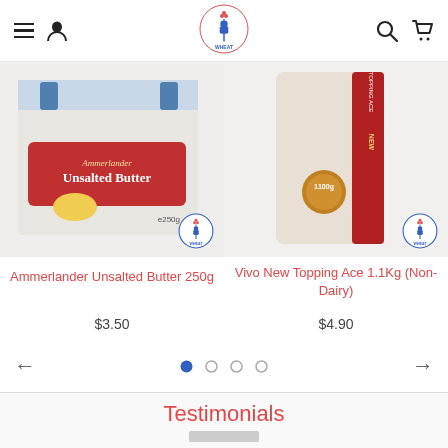Wheat store navigation header with hamburger menu, user icon, Wheat logo, search icon, and cart icon
[Figure (photo): Ammerlander Unsalted Butter 250g product photo with wheat brand logo overlay]
Ammerlander Unsalted Butter 250g
$3.50
[Figure (photo): Vivo New Topping Ace 1.1Kg (Non-Dairy) product photo with wheat brand logo overlay]
Vivo New Topping Ace 1.1Kg (Non-Dairy)
$4.90
[Figure (other): Carousel navigation: left arrow, 4 pagination dots (first filled), right arrow]
Testimonials